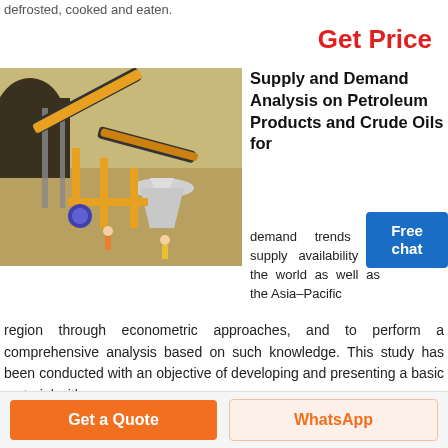defrosted, cooked and eaten.
Get Price
[Figure (photo): Industrial mining/crushing equipment with yellow conveyor belts and cone crusher on a worksite with workers visible]
Supply and Demand Analysis on Petroleum Products and Crude Oils for
Free chat
demand trends or supply availability of the world as well as the Asia–Pacific region through econometric approaches, and to perform a comprehensive analysis based on such knowledge. This study has been conducted with an objective of developing and presenting a basic material with
Get a Quote
WhatsApp